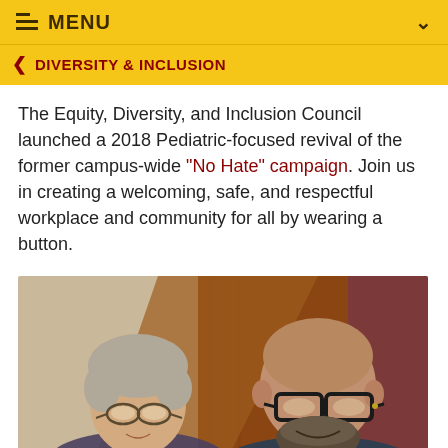MENU
DIVERSITY & INCLUSION
The Equity, Diversity, and Inclusion Council launched a 2018 Pediatric-focused revival of the former campus-wide "No Hate" campaign. Join us in creating a welcoming, safe, and respectful workplace and community for all by wearing a button.
[Figure (photo): Two people standing together indoors in front of a wood-paneled background. On the left is an older woman with short gray hair and glasses. On the right is a bald man with glasses and a beard, smiling.]